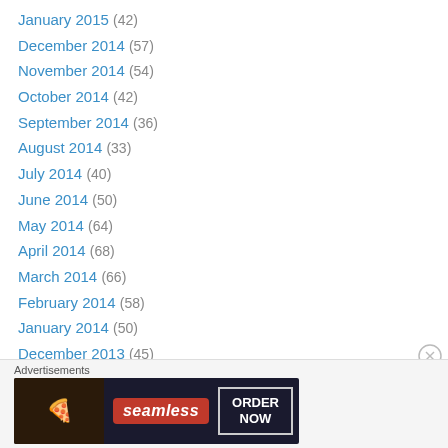January 2015 (42)
December 2014 (57)
November 2014 (54)
October 2014 (42)
September 2014 (36)
August 2014 (33)
July 2014 (40)
June 2014 (50)
May 2014 (64)
April 2014 (68)
March 2014 (66)
February 2014 (58)
January 2014 (50)
December 2013 (45)
November 2013 (39)
October 2013 (23)
[Figure (screenshot): Seamless food delivery advertisement banner with pizza image, Seamless logo in red, and ORDER NOW button in outlined box on dark background]